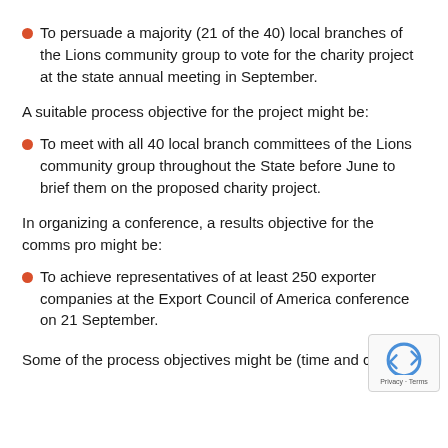To persuade a majority (21 of the 40) local branches of the Lions community group to vote for the charity project at the state annual meeting in September.
A suitable process objective for the project might be:
To meet with all 40 local branch committees of the Lions community group throughout the State before June to brief them on the proposed charity project.
In organizing a conference, a results objective for the comms pro might be:
To achieve representatives of at least 250 exporter companies at the Export Council of America conference on 21 September.
Some of the process objectives might be (time and cost